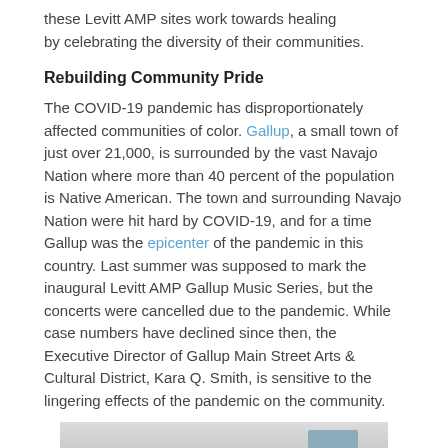these Levitt AMP sites work towards healing by celebrating the diversity of their communities.
Rebuilding Community Pride
The COVID-19 pandemic has disproportionately affected communities of color. Gallup, a small town of just over 21,000, is surrounded by the vast Navajo Nation where more than 40 percent of the population is Native American. The town and surrounding Navajo Nation were hit hard by COVID-19, and for a time Gallup was the epicenter of the pandemic in this country. Last summer was supposed to mark the inaugural Levitt AMP Gallup Music Series, but the concerts were cancelled due to the pandemic. While case numbers have declined since then, the Executive Director of Gallup Main Street Arts & Cultural District, Kara Q. Smith, is sensitive to the lingering effects of the pandemic on the community.
[Figure (photo): Indoor venue photo showing a ceiling with vents and lighting, a teal/blue decorated stage area with microphone stands, and a crowd silhouette in the foreground.]